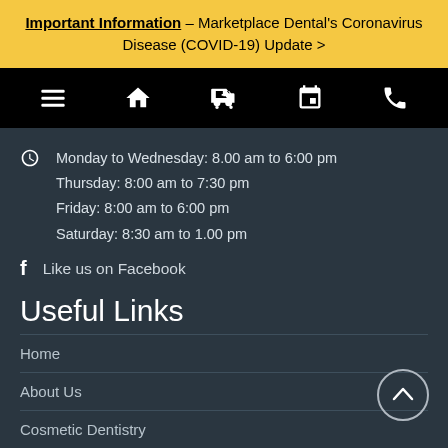Important Information – Marketplace Dental's Coronavirus Disease (COVID-19) Update >
[Figure (other): Navigation bar with icons: hamburger menu, home, ambulance/emergency, calendar, phone]
Monday to Wednesday: 8.00 am to 6:00 pm
Thursday: 8:00 am to 7:30 pm
Friday: 8:00 am to 6:00 pm
Saturday: 8:30 am to 1.00 pm
Like us on Facebook
Useful Links
Home
About Us
Cosmetic Dentistry